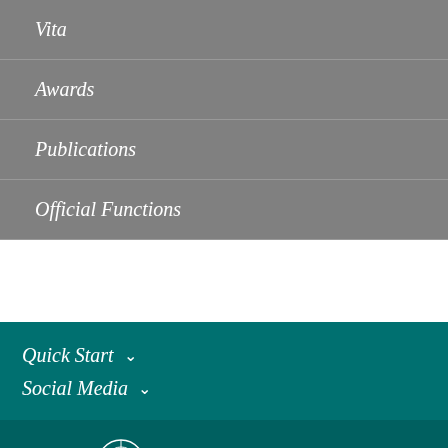Vita
Awards
Publications
Official Functions
Quick Start
Social Media
Max-Planck-Gesellschaft